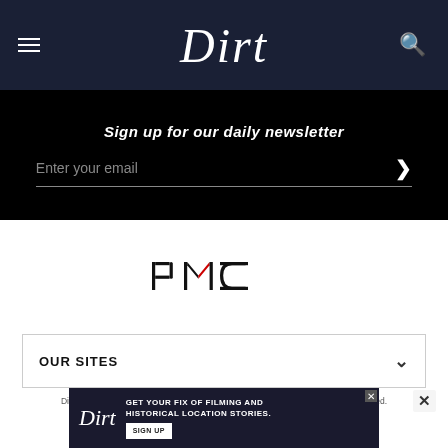Dirt
Sign up for our daily newsletter
Enter your email
[Figure (logo): PMC (Penske Media Corporation) logo in black and red]
OUR SITES
Dirt is a part of Penske Media Corporation. © 2022 Dirt.com, LLC. All Rights Reserved. Powered by WordPress.com VIP
[Figure (infographic): Advertisement banner for Dirt: GET YOUR FIX OF FILMING AND HISTORICAL LOCATION STORIES. SIGN UP]